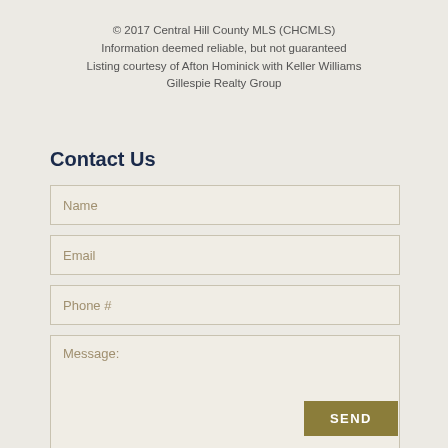© 2017 Central Hill County MLS (CHCMLS)
Information deemed reliable, but not guaranteed
Listing courtesy of Afton Hominick with Keller Williams Gillespie Realty Group
Contact Us
Name
Email
Phone #
Message:
SEND